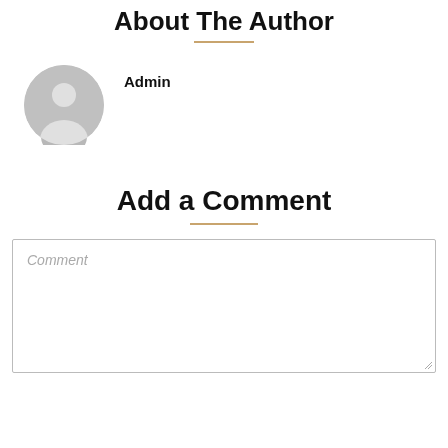About The Author
[Figure (illustration): Gray circular avatar/profile icon with silhouette of a person (head and shoulders)]
Admin
Add a Comment
Comment